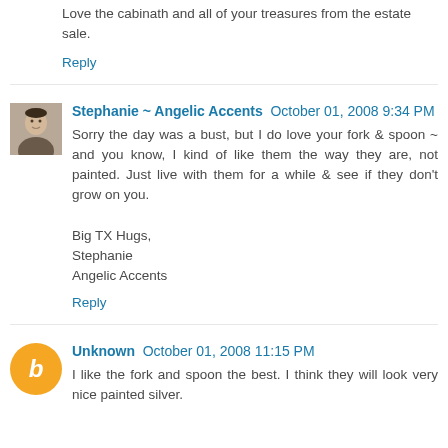Love the cabinath and all of your treasures from the estate sale.
Reply
Stephanie ~ Angelic Accents  October 01, 2008 9:34 PM
Sorry the day was a bust, but I do love your fork & spoon ~ and you know, I kind of like them the way they are, not painted. Just live with them for a while & see if they don't grow on you.

Big TX Hugs,
Stephanie
Angelic Accents
Reply
Unknown  October 01, 2008 11:15 PM
I like the fork and spoon the best. I think they will look very nice painted silver.